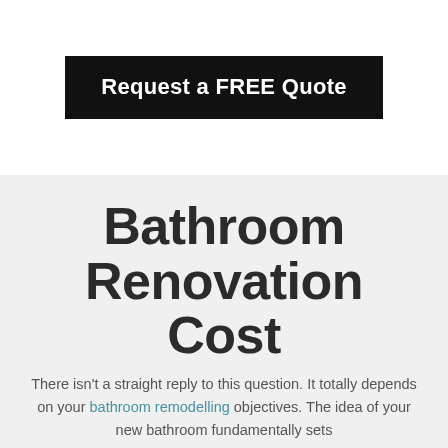Request a FREE Quote
Bathroom Renovation Cost
There isn't a straight reply to this question. It totally depends on your bathroom remodelling objectives. The idea of your new bathroom fundamentally sets